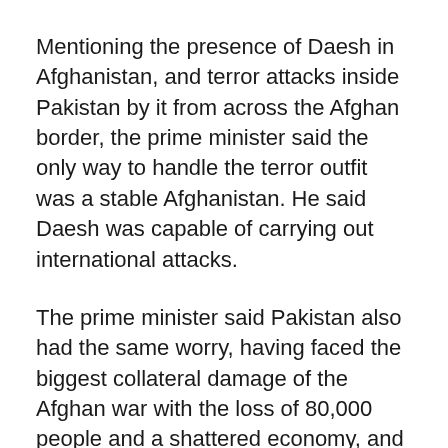Mentioning the presence of Daesh in Afghanistan, and terror attacks inside Pakistan by it from across the Afghan border, the prime minister said the only way to handle the terror outfit was a stable Afghanistan. He said Daesh was capable of carrying out international attacks.
The prime minister said Pakistan also had the same worry, having faced the biggest collateral damage of the Afghan war with the loss of 80,000 people and a shattered economy, and displacement of 3.5 million people.
The prime minister welcomed the delegates in Pakistan and said ironically, Pakistan had